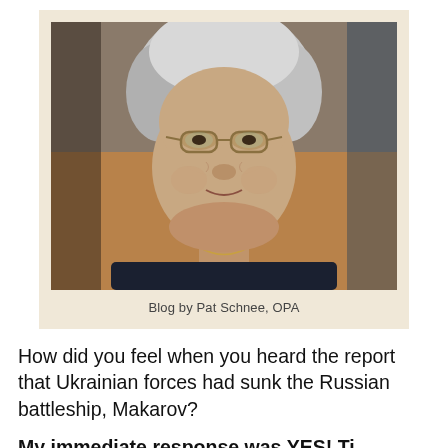[Figure (photo): Close-up portrait of an elderly woman with short white/grey hair, wearing glasses and a dark navy top with a gold necklace, smiling, photographed indoors]
Blog by Pat Schnee, OPA
How did you feel when you heard the report that Ukrainian forces had sunk the Russian battleship, Makarov?
My immediate response was YES! Ti...